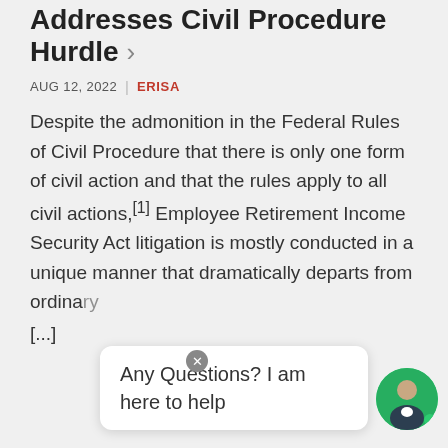Addresses Civil Procedure Hurdle ›
AUG 12, 2022 | ERISA
Despite the admonition in the Federal Rules of Civil Procedure that there is only one form of civil action and that the rules apply to all civil actions,[1] Employee Retirement Income Security Act litigation is mostly conducted in a unique manner that dramatically departs from ordinary [...]
Any Questions? I am here to help